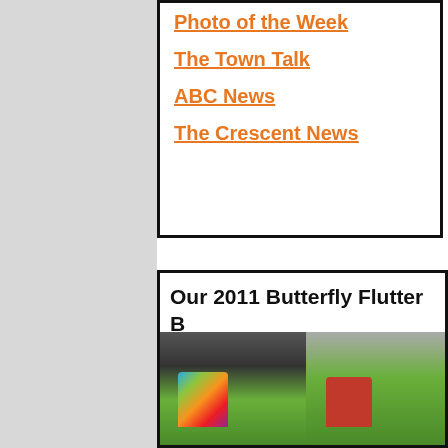Photo of the Week
The Town Talk
ABC News
The Crescent News
Our 2011 Butterfly Flutter B... was...
[Figure (photo): Two young children outdoors on grass at a 2011 Butterfly Flutter event]